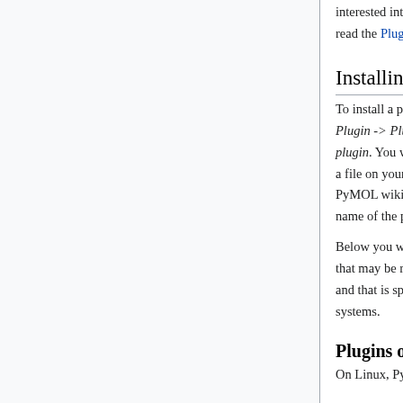interested into writing your own plugin please read the Plugins_Tutorial.
Installing Plugins
To install a plugin open PyMOL and then go to Plugin -> Plugin manager -> Install new plugin. You will have the option to install from a file on your computer or directly from the PyMOL wiki by providing the proper url (the name of the plugin's page at the PyMOL wiki).
Below you will find some more information that may be relevant when installing plugins and that is specific to different operating systems.
Plugins on Linux
On Linux, PyMOL is generally installed